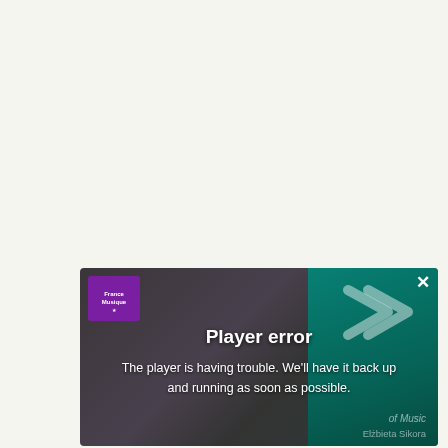[Figure (screenshot): A video player error screen overlaid on a dark concert scene photo. Top left has a purple logo box. Top right teal panel with arrow/chevron logo and an X close button. Center shows bold white text 'Player error' and below it 'The player is having trouble. We'll have it back up and running as soon as possible.' Bottom right shows faint italic text 'of Music' and 'Elżbieta Sikora'.]